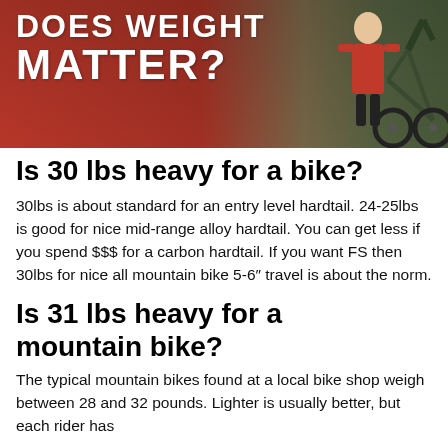[Figure (photo): Hero image showing a cyclist in a red shirt next to a mountain bike with bold white text 'DOES WEIGHT MATTER?' overlaid on a red background]
Is 30 lbs heavy for a bike?
30lbs is about standard for an entry level hardtail. 24-25lbs is good for nice mid-range alloy hardtail. You can get less if you spend $$$ for a carbon hardtail. If you want FS then 30lbs for nice all mountain bike 5-6″ travel is about the norm.
Is 31 lbs heavy for a mountain bike?
The typical mountain bikes found at a local bike shop weigh between 28 and 32 pounds. Lighter is usually better, but each rider has